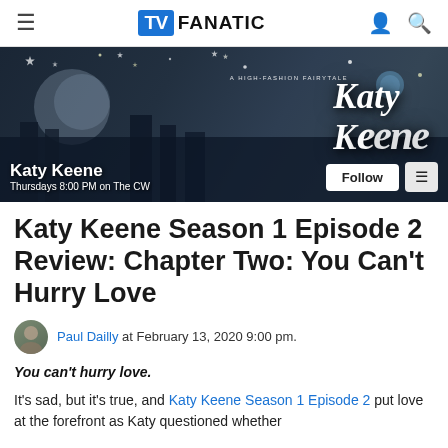TV FANATIC
[Figure (photo): Katy Keene show banner with cast members posed in front of stylized NYC skyline with stars, with show title 'Katy Keene - A High-Fashion Fairytale' and buttons for Follow and menu]
Katy Keene Season 1 Episode 2 Review: Chapter Two: You Can't Hurry Love
Paul Dailly at February 13, 2020 9:00 pm.
You can't hurry love.
It's sad, but it's true, and Katy Keene Season 1 Episode 2 put love at the forefront as Katy questioned whether